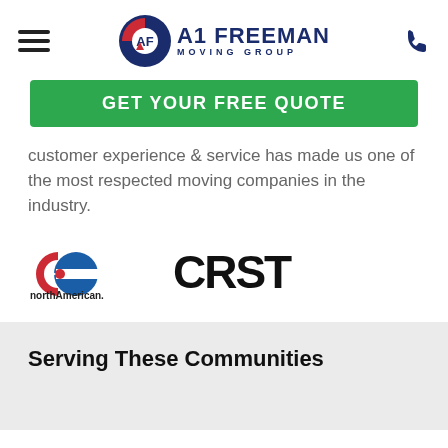A1 FREEMAN MOVING GROUP
[Figure (logo): A1 Freeman Moving Group logo with red and blue circular emblem and bold text]
[Figure (logo): Green button: GET YOUR FREE QUOTE]
customer experience & service has made us one of the most respected moving companies in the industry.
[Figure (logo): northAmerican. logo with red and blue circular arrow mark]
[Figure (logo): CRST logo in bold black letters]
Serving These Communities